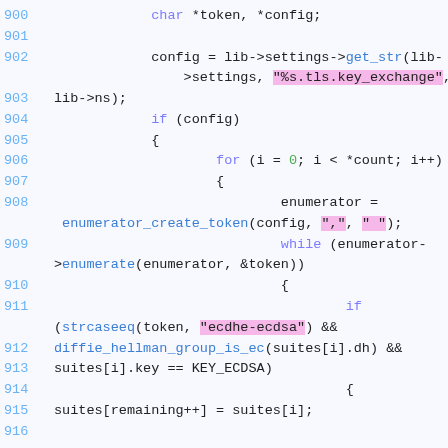[Figure (screenshot): Source code snippet in C showing lines 900-916 with syntax highlighting. Line numbers in blue, keywords in purple/blue, string literals highlighted in pink, numeric literals in green, function names in blue.]